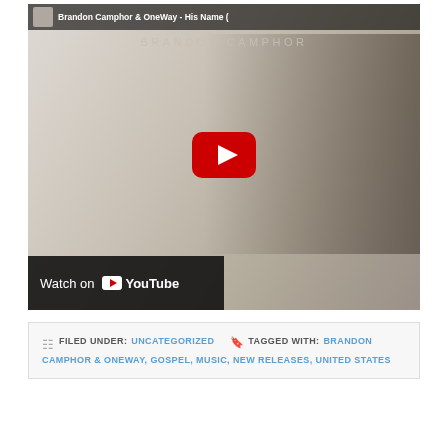[Figure (screenshot): YouTube video thumbnail showing Brandon Camphor & OneWay - His Name video. Two people leaning on a railing. Title bar reads 'Brandon Camphor & OneWay - His Name ('. Artist name 'BRANDON CAMPHOR' in light text. Red YouTube play button in center. 'Watch on YouTube' bar at bottom left.]
FILED UNDER: UNCATEGORIZED   TAGGED WITH: BRANDON CAMPHOR & ONEWAY, GOSPEL, MUSIC, NEW RELEASES, UNITED STATES